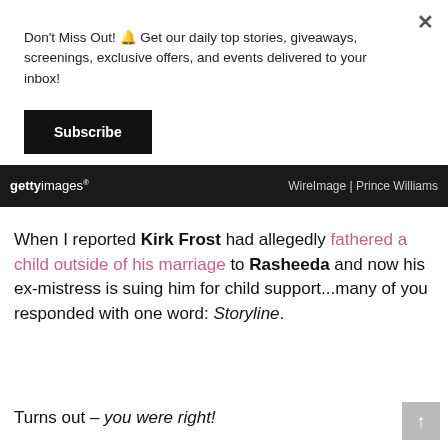Don't Miss Out! 🔔 Get our daily top stories, giveaways, screenings, exclusive offers, and events delivered to your inbox!
Subscribe
[Figure (photo): Getty Images banner with WireImage | Prince Williams credit, dark background]
When I reported Kirk Frost had allegedly fathered a child outside of his marriage to Rasheeda and now his ex-mistress is suing him for child support...many of you responded with one word: Storyline.
Turns out – you were right!